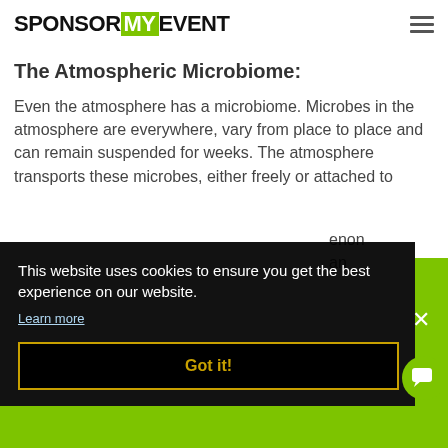SPONSOR MY EVENT
The Atmospheric Microbiome:
Even the atmosphere has a microbiome. Microbes in the atmosphere are everywhere, vary from place to place and can remain suspended for weeks. The atmosphere transports these microbes, either freely or attached to [partially obscured] ...enon ...an
This website uses cookies to ensure you get the best experience on our website.
Learn more
Got it!